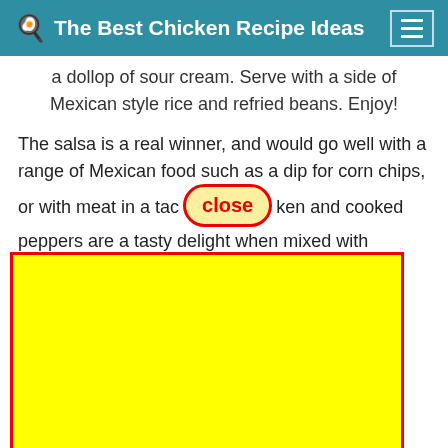🍳 The Best Chicken Recipe Ideas
a dollop of sour cream. Serve with a side of Mexican style rice and refried beans. Enjoy!
The salsa is a real winner, and would go well with a range of Mexican food such as a dip for corn chips, or with meat in a taco [close button] ken and cooked peppers are a tasty delight when mixed with cheese and s[...overlay...]illas. Be su[...overlay...]the sour c[...overlay...] guaca[...overlay...]an quesad[...overlay...] and alway[...overlay...]
So th[...overlay...]al food d[...overlay...] Thanks so much for your time. I am confident you